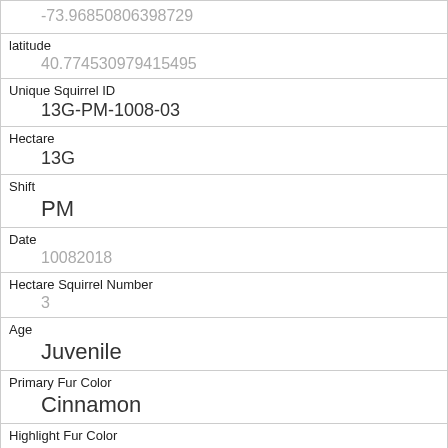| -73.96850806398729 |
| latitude | 40.774530979415495 |
| Unique Squirrel ID | 13G-PM-1008-03 |
| Hectare | 13G |
| Shift | PM |
| Date | 10082018 |
| Hectare Squirrel Number | 3 |
| Age | Juvenile |
| Primary Fur Color | Cinnamon |
| Highlight Fur Color | Gray |
| Combination of Primary and Highlight Color | Cinnamon+Gray |